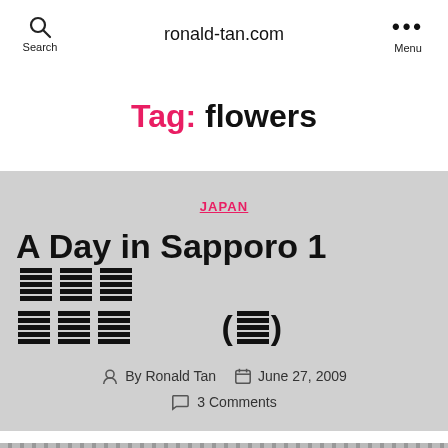ronald-tan.com | Search | Menu
Tag: flowers
JAPAN
A Day in Sapporo 1日目 札幌 (前編)
By Ronald Tan  June 27, 2009  3 Comments